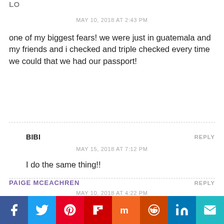LO
MAY 10, 2018 AT 2:43 PM
one of my biggest fears! we were just in guatemala and my friends and i checked and triple checked every time we could that we had our passport!
REPLY
BIBI
MAY 15, 2018 AT 7:12 PM
I do the same thing!!
REPLY
PAIGE MCEACHREN
MAY 10, 2018 AT 4:22 PM
I am always paranoid about losing my passport. I take a